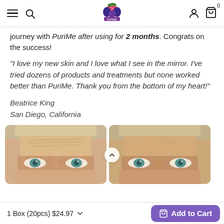PuriMe — navigation header with hamburger menu, search, logo, user icon, cart icon (0)
journey with PuriMe after using for 2 months. Congrats on the success!
"I love my new skin and I love what I see in the mirror. I've tried dozens of products and treatments but none worked better than PuriMe. Thank you from the bottom of my heart!"
Beatrice King
San Diego, California
[Figure (photo): Before and after photos of an older woman showing skin improvement around the eyes and forehead after using PuriMe for 2 months]
1 Box (20pcs) $24.97  Add to Cart